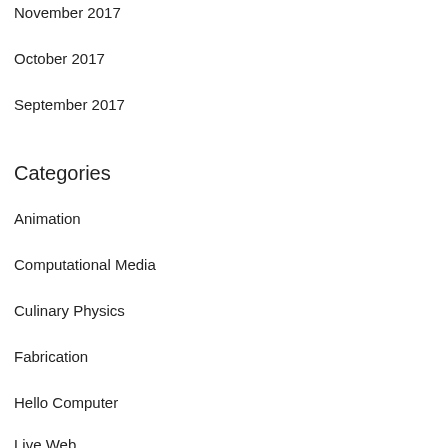November 2017
October 2017
September 2017
Categories
Animation
Computational Media
Culinary Physics
Fabrication
Hello Computer
Live Web